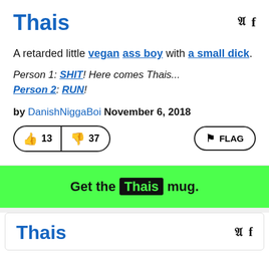Thais
A retarded little vegan ass boy with a small dick.
Person 1: SHIT! Here comes Thais...
Person 2: RUN!
by DanishNiggaBoi November 6, 2018
[Figure (other): Vote buttons: thumbs up 13, thumbs down 37, and FLAG button]
Get the Thais mug.
Thais